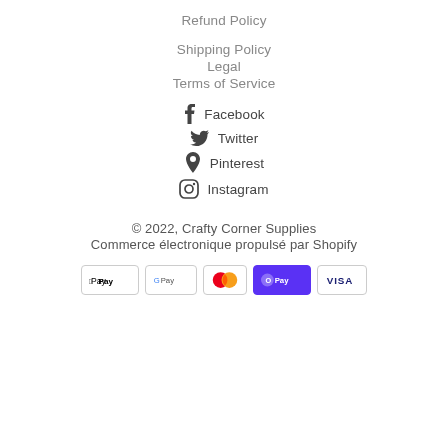Refund Policy
Shipping Policy
Legal
Terms of Service
Facebook
Twitter
Pinterest
Instagram
© 2022, Crafty Corner Supplies
Commerce électronique propulsé par Shopify
[Figure (other): Payment method icons: Apple Pay, Google Pay, Mastercard, Shop Pay, Visa]